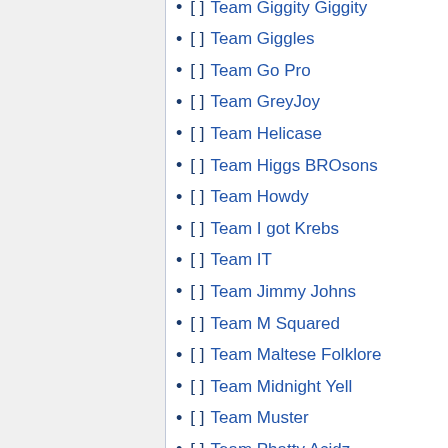[ ] Team Giggity Giggity
[ ] Team Giggles
[ ] Team Go Pro
[ ] Team GreyJoy
[ ] Team Helicase
[ ] Team Higgs BROsons
[ ] Team Howdy
[ ] Team I got Krebs
[ ] Team IT
[ ] Team Jimmy Johns
[ ] Team M Squared
[ ] Team Maltese Folklore
[ ] Team Midnight Yell
[ ] Team Muster
[ ] Team Phatty Acidz
[ ] Team Pink Panthers
[ ] Team Pretty Pretty Princess
[ ] Team Protein Titans
[ ] Team Rainbow Buddy Huddle